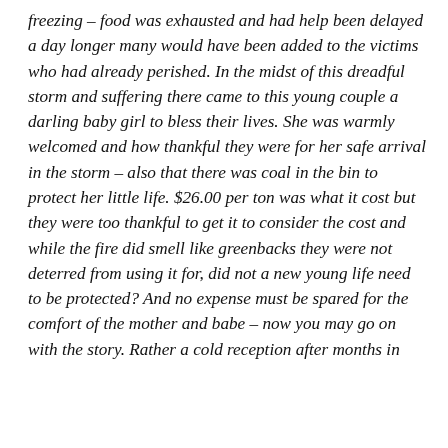freezing – food was exhausted and had help been delayed a day longer many would have been added to the victims who had already perished. In the midst of this dreadful storm and suffering there came to this young couple a darling baby girl to bless their lives. She was warmly welcomed and how thankful they were for her safe arrival in the storm – also that there was coal in the bin to protect her little life. $26.00 per ton was what it cost but they were too thankful to get it to consider the cost and while the fire did smell like greenbacks they were not deterred from using it for, did not a new young life need to be protected? And no expense must be spared for the comfort of the mother and babe – now you may go on with the story. Rather a cold reception after months in